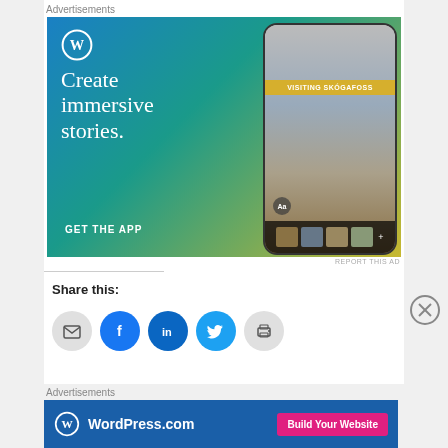Advertisements
[Figure (illustration): WordPress.com advertisement banner showing 'Create immersive stories. GET THE APP' with a phone mockup displaying a waterfall photo and 'VISITING SKÓGAFOSS' text overlay, on a blue-green-yellow gradient background with WordPress logo.]
REPORT THIS AD
Share this:
[Figure (other): Row of social share icon buttons: email (gray circle), Facebook (blue circle), LinkedIn (blue circle), Twitter (cyan circle), print (gray circle).]
Advertisements
[Figure (illustration): WordPress.com dark blue advertisement banner with WordPress logo and 'WordPress.com' text on the left, and 'Build Your Website' pink/magenta button on the right.]